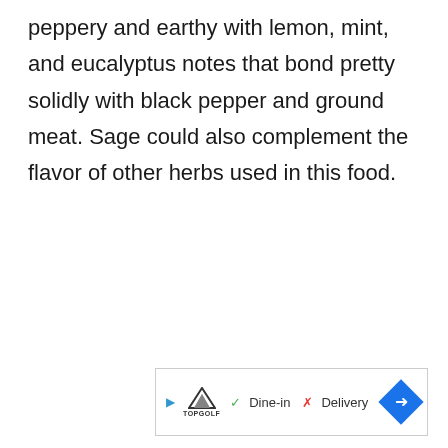peppery and earthy with lemon, mint, and eucalyptus notes that bond pretty solidly with black pepper and ground meat. Sage could also complement the flavor of other herbs used in this food.
[Figure (other): Advertisement banner for Topgolf showing Dine-in and Delivery options with a navigation arrow]